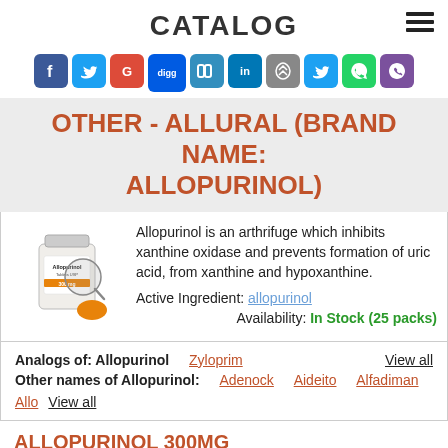CATALOG
[Figure (infographic): Social media sharing icons: Facebook, Twitter, Google+, Digg, Delicious, LinkedIn, Pinterest, Twitter, WhatsApp, Viber]
OTHER - ALLURAL (BRAND NAME: ALLOPURINOL)
[Figure (photo): Bottle of Allopurinol Tablets USP 300mg with a magnifying glass and an orange pill]
Allopurinol is an arthrifuge which inhibits xanthine oxidase and prevents formation of uric acid, from xanthine and hypoxanthine.
Active Ingredient: allopurinol
Availability: In Stock (25 packs)
Analogs of: Allopurinol   Zyloprim   View all
Other names of Allopurinol:   Adenock   Aideito   Alfadiman   Allo   View all
ALLOPURINOL 300MG
| Per Pill | Savings | Per Pack | Order |
| --- | --- | --- | --- |